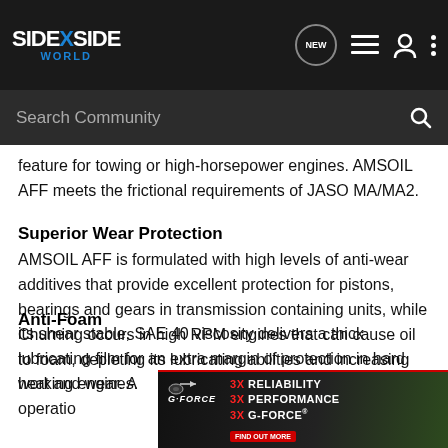[Figure (screenshot): SideXSide World website navigation bar with logo, search bar, and icons including NEW bubble, list, user, and menu dots]
feature for towing or high-horsepower engines. AMSOIL AFF meets the frictional requirements of JASO MA/MA2.
Superior Wear Protection
AMSOIL AFF is formulated with high levels of anti-wear additives that provide excellent protection for pistons, bearings and gears in transmission containing units, while its shear stable, SAE 40 viscosity delivers a thick lubricating film for an extra margin of protection in hard working engines.
Anti-Foam
Churning occurs in high RPM engines that can cause oil to foam, depleting its lubricating abilities and increasing heat and wear. A... ine operatio...
[Figure (illustration): G-FORCE advertisement banner: 3X RELIABILITY, 3X PERFORMANCE, 3X G-FORCE with FIND OUT MORE button and ATV in forest background]